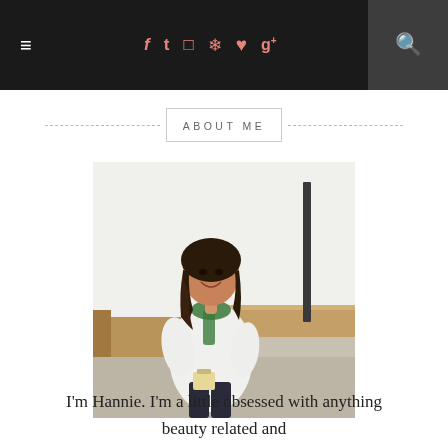≡  f  t  Instagram  Pinterest  ♥  g+  🔍
ABOUT ME
[Figure (photo): A young Asian woman with long dark hair wearing a white coat and green scarf, holding a small bag, standing in a modern interior space with wooden bench seating and white walls.]
I'm Hannie. I'm a little obsessed with anything beauty related and